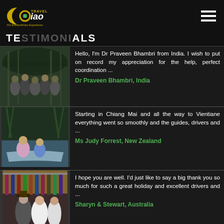[Figure (logo): Ciao Travel logo with gold crescent and green dot, text 'For Extraordinary Experience']
TESTIMONIALS
[Figure (photo): Group of people sitting under a shelter in a forest/jungle setting]
Hello, I'm Dr Praveen Bhambri from India. I wish to put on record my appreciation for the help, perfect coordination ...
Dr Praveen Bhambri, India
[Figure (photo): Woman and another person sitting in a boat among mangroves]
Starting in Chiang Mai and all the way to Vientiane everything went so smoothly and the guides, drivers and ...
Ms Judy Forrest, New Zealand
[Figure (photo): Two women at an outdoor market with clothing on display]
I hope you are well. I'd just like to say a big thank you so much for such a great holiday and excellent drivers and ...
Sharyn & Stewart, Australia